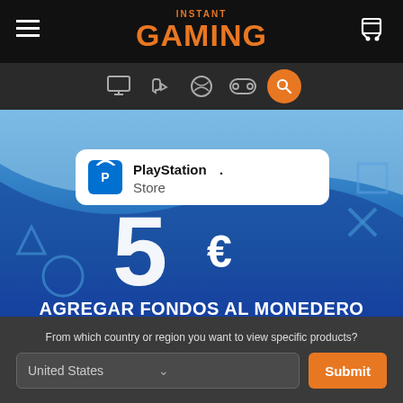INSTANT GAMING
[Figure (illustration): PlayStation Store promotional banner showing '5€ AGREGAR FONDOS AL MONEDERO' with a Spanish flag, on a blue gradient background with PlayStation symbols]
From which country or region you want to view specific products?
United States
Submit